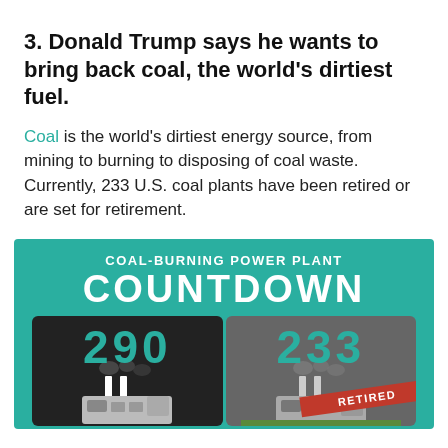3. Donald Trump says he wants to bring back coal, the world's dirtiest fuel.
Coal is the world's dirtiest energy source, from mining to burning to disposing of coal waste. Currently, 233 U.S. coal plants have been retired or are set for retirement.
[Figure (infographic): Coal-Burning Power Plant Countdown infographic showing two power plant icons: one active with '290' and one with '233 RETIRED' banner on teal background]